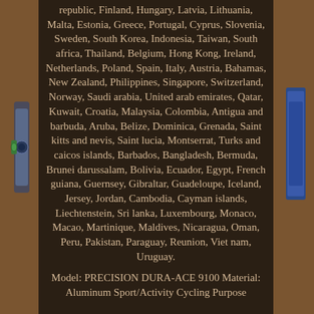republic, Finland, Hungary, Latvia, Lithuania, Malta, Estonia, Greece, Portugal, Cyprus, Slovenia, Sweden, South Korea, Indonesia, Taiwan, South africa, Thailand, Belgium, Hong Kong, Ireland, Netherlands, Poland, Spain, Italy, Austria, Bahamas, New Zealand, Philippines, Singapore, Switzerland, Norway, Saudi arabia, United arab emirates, Qatar, Kuwait, Croatia, Malaysia, Colombia, Antigua and barbuda, Aruba, Belize, Dominica, Grenada, Saint kitts and nevis, Saint lucia, Montserrat, Turks and caicos islands, Barbados, Bangladesh, Bermuda, Brunei darussalam, Bolivia, Ecuador, Egypt, French guiana, Guernsey, Gibraltar, Guadeloupe, Iceland, Jersey, Jordan, Cambodia, Cayman islands, Liechtenstein, Sri lanka, Luxembourg, Monaco, Macao, Martinique, Maldives, Nicaragua, Oman, Peru, Pakistan, Paraguay, Reunion, Viet nam, Uruguay.
Model: PRECISION DURA-ACE 9100 Material: Aluminum Sport/Activity Cycling Purpose
[Figure (photo): Product listing page showing a dark brown panel with country list text and product model information. On the left edge, a blue and grey tool/component is partially visible. On the right edge, a blue component is partially visible. The background shows a wooden surface texture.]